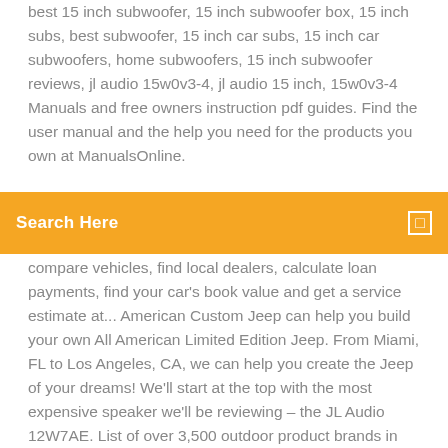best 15 inch subwoofer, 15 inch subwoofer box, 15 inch subs, best subwoofer, 15 inch car subs, 15 inch car subwoofers, home subwoofers, 15 inch subwoofer reviews, jl audio 15w0v3-4, jl audio 15 inch, 15w0v3-4 Manuals and free owners instruction pdf guides. Find the user manual and the help you need for the products you own at ManualsOnline.
Search Here
compare vehicles, find local dealers, calculate loan payments, find your car's book value and get a service estimate at... American Custom Jeep can help you build your own All American Limited Edition Jeep. From Miami, FL to Los Angeles, CA, we can help you create the Jeep of your dreams! We'll start at the top with the most expensive speaker we'll be reviewing – the JL Audio 12W7AE. List of over 3,500 outdoor product brands in sporting optics, riflescopes, binoculars, microscopes, telescopes, nightvision and thermal sites + apparel and sunglasses.